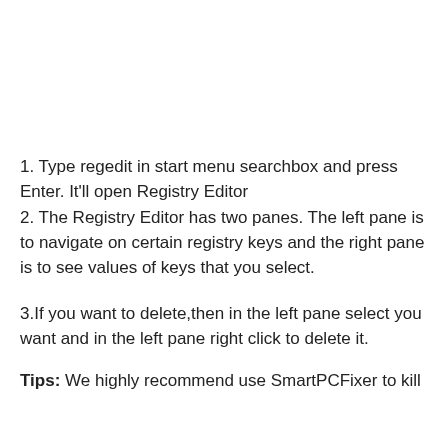1. Type regedit in start menu searchbox and press Enter. It'll open Registry Editor
2. The Registry Editor has two panes. The left pane is to navigate on certain registry keys and the right pane is to see values of keys that you select.
3.If you want to delete,then in the left pane select you want and in the left pane right click to delete it.
Tips: We highly recommend use SmartPCFixer to kill